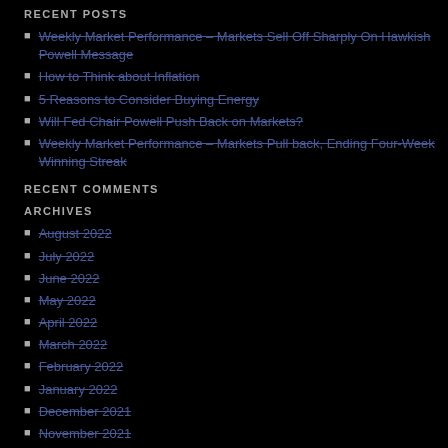RECENT POSTS
Weekly Market Performance – Markets Sell Off Sharply On Hawkish Powell Message
How to Think about Inflation
5 Reasons to Consider Buying Energy
Will Fed Chair Powell Push Back on Markets?
Weekly Market Performance – Markets Pull back, Ending Four-Week Winning Streak
RECENT COMMENTS
ARCHIVES
August 2022
July 2022
June 2022
May 2022
April 2022
March 2022
February 2022
January 2022
December 2021
November 2021
October 2021
September 2021